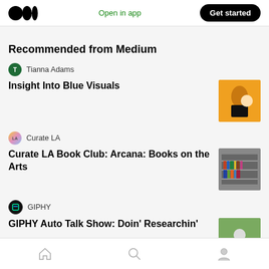Medium logo | Open in app | Get started
Recommended from Medium
Tianna Adams
Insight Into Blue Visuals
Curate LA
Curate LA Book Club: Arcana: Books on the Arts
GIPHY
Home | Search | Profile